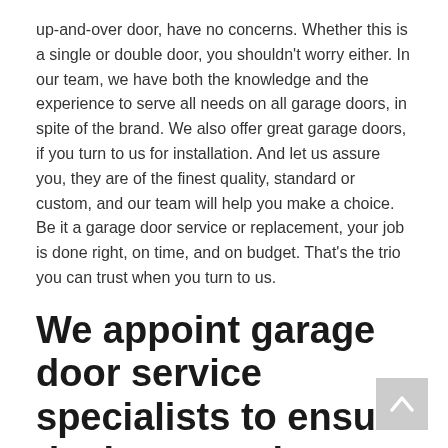up-and-over door, have no concerns. Whether this is a single or double door, you shouldn't worry either. In our team, we have both the knowledge and the experience to serve all needs on all garage doors, in spite of the brand. We also offer great garage doors, if you turn to us for installation. And let us assure you, they are of the finest quality, standard or custom, and our team will help you make a choice. Be it a garage door service or replacement, your job is done right, on time, and on budget. That's the trio you can trust when you turn to us.
We appoint garage door service specialists to ensure the best results
In order to ensure prompt garage door opener repair, excellent maintenance service, and proper tracks adjustment, we work with devoted techs. Their continuous